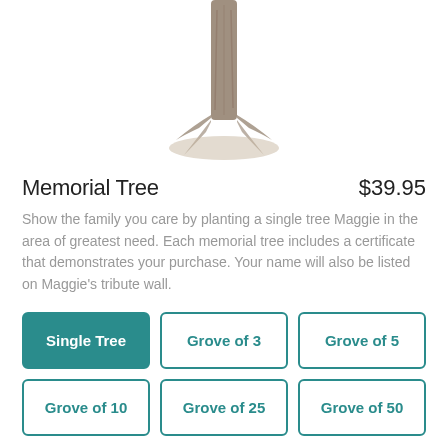[Figure (illustration): Pencil or charcoal illustration of a tree trunk and roots, cropped at the top, centered near the top of the page]
Memorial Tree
$39.95
Show the family you care by planting a single tree Maggie in the area of greatest need. Each memorial tree includes a certificate that demonstrates your purchase. Your name will also be listed on Maggie's tribute wall.
Single Tree
Grove of 3
Grove of 5
Grove of 10
Grove of 25
Grove of 50
CONTINUE TO CHECKOUT